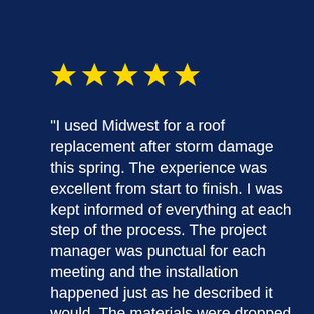[Figure (other): Five yellow star rating icons on dark navy background]
"I used Midwest for a roof replacement after storm damage this spring. The experience was excellent from start to finish. I was kept informed of everything at each step of the process. The project manager was punctual for each meeting and the installation happened just as he described it would. The materials were dropped off on schedule, the crew arrived on schedule and completed the job in one day. Very happy with the